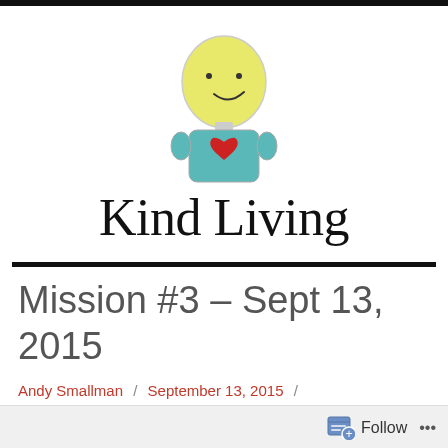[Figure (illustration): Simple hand-drawn style cartoon character: round yellow head with dot eyes and small smile, teal/blue rectangular body with a red heart on chest]
Kind Living
Mission #3 – Sept 13, 2015
Andy Smallman / September 13, 2015 / Compassion Games 2015
Follow ...